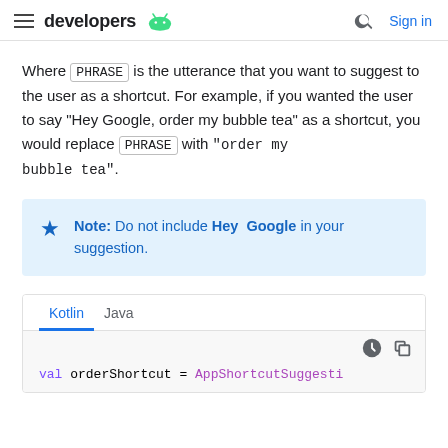developers [android logo] | [search] Sign in
Where PHRASE is the utterance that you want to suggest to the user as a shortcut. For example, if you wanted the user to say "Hey Google, order my bubble tea" as a shortcut, you would replace PHRASE with "order my bubble tea".
Note: Do not include Hey Google in your suggestion.
Kotlin | Java
val orderShortcut = AppShortcutSuggesti